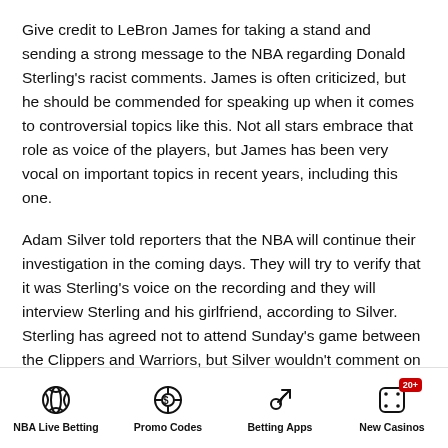Give credit to LeBron James for taking a stand and sending a strong message to the NBA regarding Donald Sterling's racist comments. James is often criticized, but he should be commended for speaking up when it comes to controversial topics like this. Not all stars embrace that role as voice of the players, but James has been very vocal on important topics in recent years, including this one.
Adam Silver told reporters that the NBA will continue their investigation in the coming days. They will try to verify that it was Sterling's voice on the recording and they will interview Sterling and his girlfriend, according to Silver. Sterling has agreed not to attend Sunday's game between the Clippers and Warriors, but Silver wouldn't comment on potential sanctions for Sterling since the
NBA Live Betting   Promo Codes   Betting Apps   New Casinos